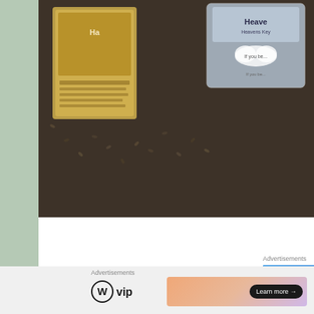[Figure (photo): Photo of coffee beans or seeds on a carpet/rug, with packaged items visible including what appears to be seed packets with 'Heave' text visible]
Advertisements
[Figure (screenshot): WordPress VIP advertisement banner with blue-purple gradient background showing text 'Simplified pricing for everything you need.' and a pink 'Build Your Website' button, with a price tag image on the right. Has an X close button in bottom right.]
Advertisements
[Figure (logo): WordPress VIP logo (W circle icon with 'vip' text)]
[Figure (screenshot): Advertisement banner with orange/pink gradient and 'Learn more →' button]